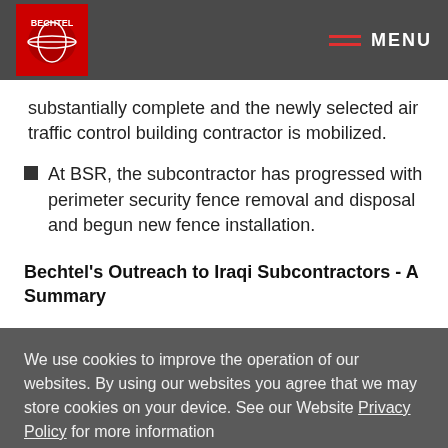BECHTEL | MENU
substantially complete and the newly selected air traffic control building contractor is mobilized.
At BSR, the subcontractor has progressed with perimeter security fence removal and disposal and begun new fence installation.
Bechtel's Outreach to Iraqi Subcontractors - A Summary
We use cookies to improve the operation of our websites. By using our websites you agree that we may store cookies on your device. See our Website Privacy Policy for more information
ALLOW